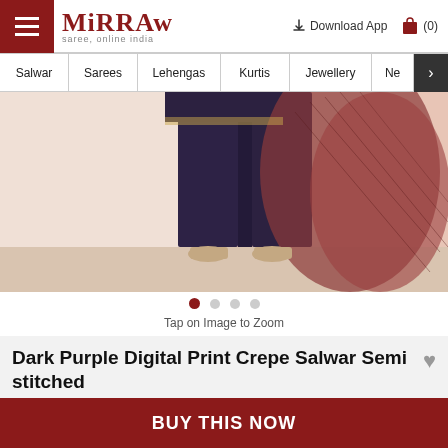Mirraw - saree, online india | Download App | (0)
Salwar | Sarees | Lehengas | Kurtis | Jewellery | Ne
[Figure (photo): Lower body of a model wearing a dark purple/navy salwar suit with a printed dupatta draped over the shoulder, standing on a light-colored floor with pink background.]
Tap on Image to Zoom
Dark Purple Digital Print Crepe Salwar Semi stitched
USD 60.29
USD 215.57 (72 % OFF)
BUY THIS NOW